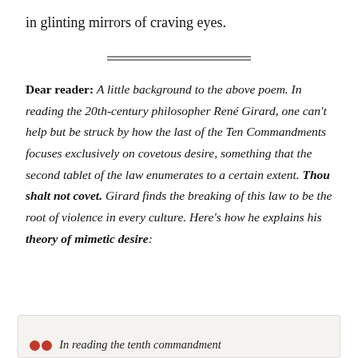in glinting mirrors of craving eyes.
Dear reader: A little background to the above poem. In reading the 20th-century philosopher René Girard, one can't help but be struck by how the last of the Ten Commandments focuses exclusively on covetous desire, something that the second tablet of the law enumerates to a certain extent. Thou shalt not covet. Girard finds the breaking of this law to be the root of violence in every culture. Here's how he explains his theory of mimetic desire:
In reading the tenth commandment